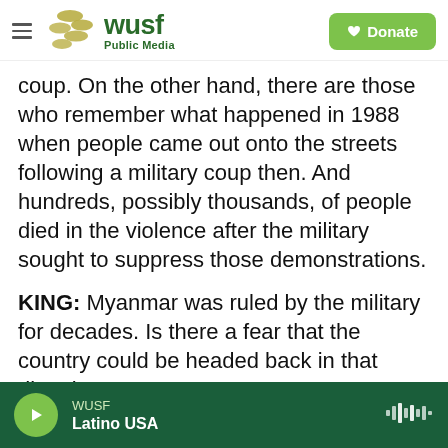WUSF Public Media | Donate
coup. On the other hand, there are those who remember what happened in 1988 when people came out onto the streets following a military coup then. And hundreds, possibly thousands, of people died in the violence after the military sought to suppress those demonstrations.
KING: Myanmar was ruled by the military for decades. Is there a fear that the country could be headed back in that direction?
CONNELLY: Yeah, absolutely. The military says that it's only going to take back power for one year, and then it's going to hold elections and return power to
WUSF | Latino USA